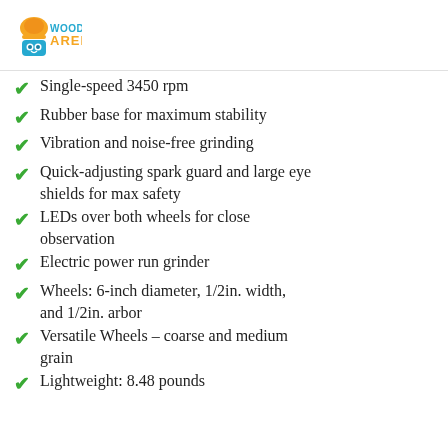[Figure (logo): Woodworking Arena logo: orange hard hat icon with blue owl/shield emblem and teal/orange text reading WOODWORKING ARENA]
Single-speed 3450 rpm
Rubber base for maximum stability
Vibration and noise-free grinding
Quick-adjusting spark guard and large eye shields for max safety
LEDs over both wheels for close observation
Electric power run grinder
Wheels: 6-inch diameter, 1/2in. width, and 1/2in. arbor
Versatile Wheels – coarse and medium grain
Lightweight: 8.48 pounds